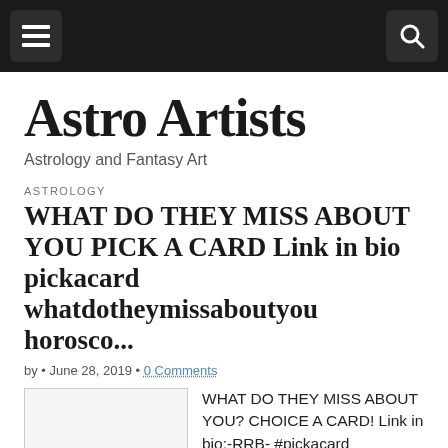[Navigation bar with menu and search buttons]
Astro Artists
Astrology and Fantasy Art
ASTROLOGY
WHAT DO THEY MISS ABOUT YOU PICK A CARD Link in bio pickacard whatdotheymissaboutyou horosco...
by • June 28, 2019 • 0 Comments
[Figure (photo): Article thumbnail image placeholder]
WHAT DO THEY MISS ABOUT YOU? CHOICE A CARD! Link in bio;-RRB- #pickacard #whatdotheymissaboutyou #horoscope #lovepickacard